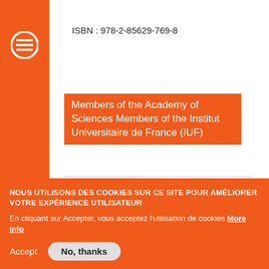Josserand and Laure Saint-Raymond.
ISBN : 978-2-85629-769-8
Members of the Academy of Sciences Members of the Institut Universitaire de France (IUF)
[Figure (illustration): Science and book icons representing subject area]
SUBJECT(S)
Mathematics
NOUS UTILISONS DES COOKIES SUR CE SITE POUR AMÉLIORER VOTRE EXPÉRIENCE UTILISATEUR
En cliquant sur Accepter, vous acceptez l'utilisation de cookies More info
Accept
No, thanks